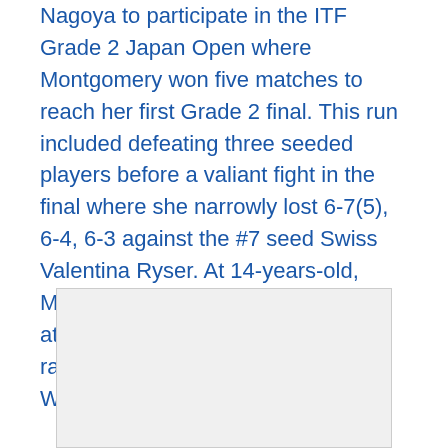Nagoya to participate in the ITF Grade 2 Japan Open where Montgomery won five matches to reach her first Grade 2 final. This run included defeating three seeded players before a valiant fight in the final where she narrowly lost 6-7(5), 6-4, 6-3 against the #7 seed Swiss Valentina Ryser. At 14-years-old, Montgomery has climbed from #522 at the start of the trip to a projected ranking of #167 in the Under 18 ITF World Junior standings.
[Figure (photo): A light grey rectangular image placeholder box]